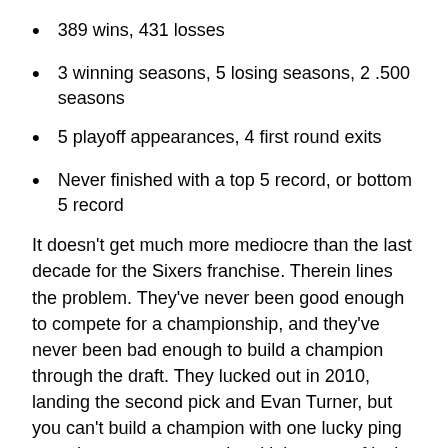389 wins, 431 losses
3 winning seasons, 5 losing seasons, 2 .500 seasons
5 playoff appearances, 4 first round exits
Never finished with a top 5 record, or bottom 5 record
It doesn't get much more mediocre than the last decade for the Sixers franchise. Therein lines the problem. They've never been good enough to compete for a championship, and they've never been bad enough to build a champion through the draft. They lucked out in 2010, landing the second pick and Evan Turner, but you can't build a champion with one lucky ping pong bounce – you need multiple years of lucky bounces.
The easy fix: stop thinking the team is "one piece away" and stop thinking the fans think the team is "one piece away". If the new ownership really is in it for the long haul